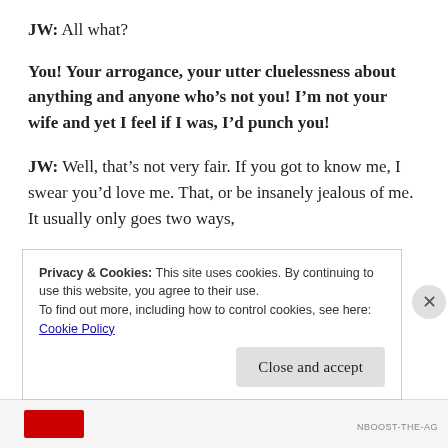JW: All what?
You! Your arrogance, your utter cluelessness about anything and anyone who’s not you! I’m not your wife and yet I feel if I was, I’d punch you!
JW: Well, that’s not very fair. If you got to know me, I swear you’d love me. That, or be insanely jealous of me. It usually only goes two ways,
Privacy & Cookies: This site uses cookies. By continuing to use this website, you agree to their use.
To find out more, including how to control cookies, see here:
Cookie Policy
Close and accept